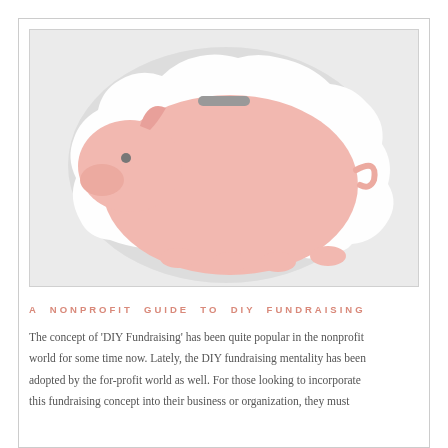[Figure (illustration): A pink piggy bank illustration centered on a white rounded sticker/cutout shape, set against a light gray background. The pig faces left, has a coin slot on top, a small gray eye, and four small feet visible at the bottom.]
A NONPROFIT GUIDE TO DIY FUNDRAISING
The concept of 'DIY Fundraising' has been quite popular in the nonprofit world for some time now. Lately, the DIY fundraising mentality has been adopted by the for-profit world as well. For those looking to incorporate this fundraising concept into their business or organization, they must